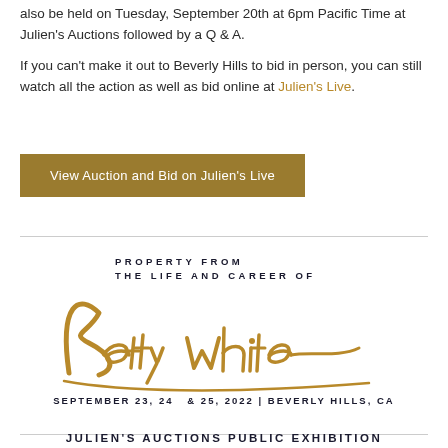also be held on Tuesday, September 20th at 6pm Pacific Time at Julien's Auctions followed by a Q & A.
If you can't make it out to Beverly Hills to bid in person, you can still watch all the action as well as bid online at Julien's Live.
View Auction and Bid on Julien's Live
[Figure (logo): Auction logo reading 'PROPERTY FROM THE LIFE AND CAREER OF Betty White SEPTEMBER 23, 24 & 25, 2022 | BEVERLY HILLS, CA' with decorative script signature in gold]
JULIEN'S AUCTIONS PUBLIC EXHIBITION